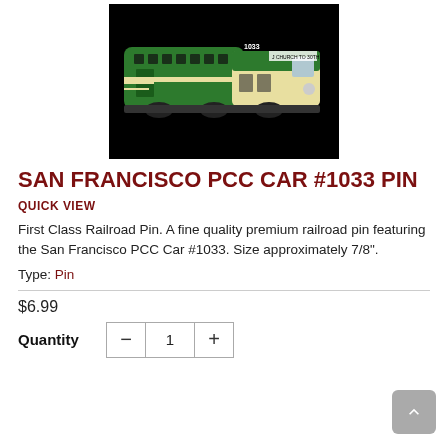[Figure (photo): San Francisco PCC Car #1033 pin product image on black background — green and cream colored streetcar/tram illustration]
SAN FRANCISCO PCC CAR #1033 PIN
QUICK VIEW
First Class Railroad Pin. A fine quality premium railroad pin featuring the San Francisco PCC Car #1033. Size approximately 7/8".
Type: Pin
$6.99
Quantity — 1 +